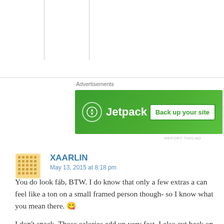[Figure (screenshot): Top white area with faint vertical column separator lines]
Advertisements
[Figure (illustration): Jetpack advertisement banner: green background with Jetpack logo and 'Back up your site' button]
REPORT THIS AD
XAARLIN
May 13, 2015 at 8:18 pm
You do look fáb, BTW. I do know that only a few extras a can feel like a ton on a small framed person though- so I know what you mean there. 😉
I don't snack. Those calories add up very fast. I also cut back on alcohol and then the lbs fly away fast! I also watch my portion sizes. I drink a lot of water and tea